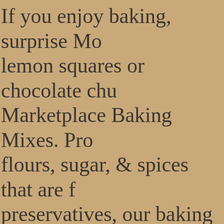If you enjoy baking, surprise Mo lemon squares or chocolate chu Marketplace Baking Mixes. Pro flours, sugar, & spices that are f preservatives, our baking mixes make, baked from scratch desse For something you can grab on t